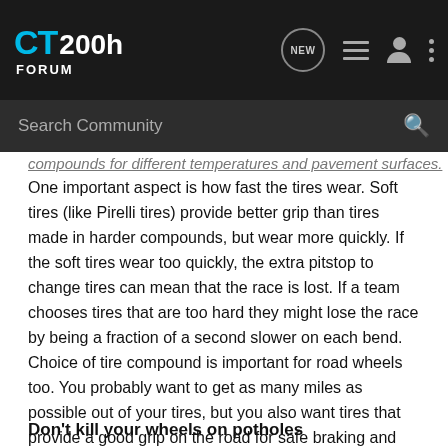CT200h FORUM
compounds for different temperatures and pavement surfaces.
One important aspect is how fast the tires wear. Soft tires (like Pirelli tires) provide better grip than tires made in harder compounds, but wear more quickly. If the soft tires wear too quickly, the extra pitstop to change tires can mean that the race is lost. If a team chooses tires that are too hard they might lose the race by being a fraction of a second slower on each bend. Choice of tire compound is important for road wheels too. You probably want to get as many miles as possible out of your tires, but you also want tires that provide a good grip on the road for safe braking and cornering. If you live in a hot climate, you will probably want a little harder rubber compound than people living in the cold of the north, to get comparable grip and wear.
Don't kill your wheels on potholes